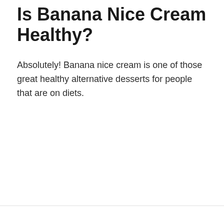Is Banana Nice Cream Healthy?
Absolutely! Banana nice cream is one of those great healthy alternative desserts for people that are on diets.